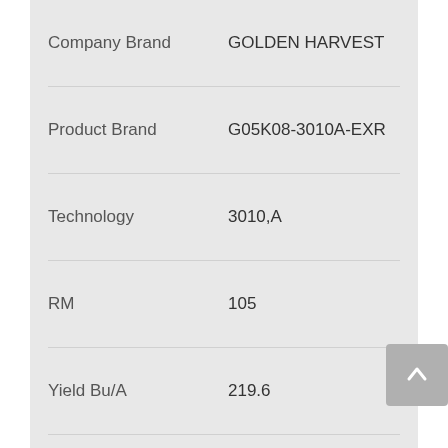| Field | Value |
| --- | --- |
| Company Brand | GOLDEN HARVEST |
| Product Brand | G05K08-3010A-EXR |
| Technology | 3010,A |
| RM | 105 |
| Yield Bu/A | 219.6 |
| Moisture % | 18.8 |
| Lodging % | 7 |
| Stand (x 1000) | 31.0 |